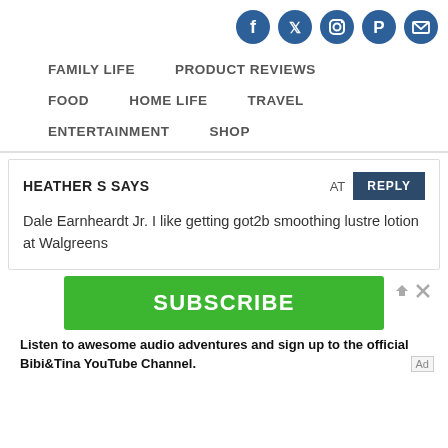[Figure (other): Social media icons: Facebook, Twitter, Instagram, Pinterest, Email]
FAMILY LIFE   PRODUCT REVIEWS   FOOD   HOME LIFE   TRAVEL   ENTERTAINMENT   SHOP
HEATHER S SAYS   AT   REPLY
Dale Earnheardt Jr. I like getting got2b smoothing lustre lotion at Walgreens
[Figure (other): Advertisement: SUBSCRIBE button (green) with text: Listen to awesome audio adventures and sign up to the official Bibi&Tina YouTube Channel. Ad label.]